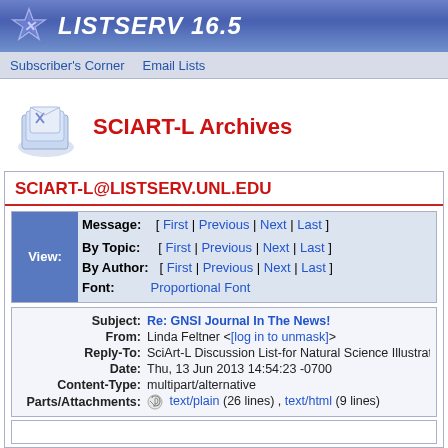LISTSERV 16.5
Subscriber's Corner  Email Lists
SCIART-L Archives
SCIART-L@LISTSERV.UNL.EDU
| View: | Message: | [ First | Previous | Next | Last ] |
|  | By Topic: | [ First | Previous | Next | Last ] |
|  | By Author: | [ First | Previous | Next | Last ] |
|  | Font: | Proportional Font |
| Subject: | Re: GNSI Journal In The News! |
| From: | Linda Feltner <[log in to unmask]> |
| Reply-To: | SciArt-L Discussion List-for Natural Science Illustration- < |
| Date: | Thu, 13 Jun 2013 14:54:23 -0700 |
| Content-Type: | multipart/alternative |
| Parts/Attachments: | text/plain (26 lines) , text/html (9 lines) |